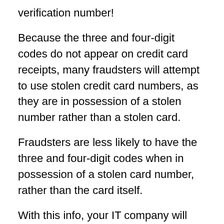verification number!
Because the three and four-digit codes do not appear on credit card receipts, many fraudsters will attempt to use stolen credit card numbers, as they are in possession of a stolen number rather than a stolen card.
Fraudsters are less likely to have the three and four-digit codes when in possession of a stolen card number, rather than the card itself.
With this info, your IT company will now be able to use the address verification service. This service works by comparing the billing address given by the IT prospect with the financial institution or bank's database.
We would also strongly recommend that your